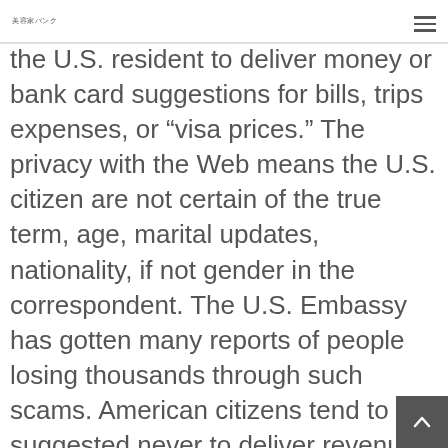美容家バンク
the U.S. resident to deliver money or bank card suggestions for bills, trips expenses, or “visa prices.” The privacy with the Web means the U.S. citizen are not certain of the true term, age, marital updates, nationality, if not gender in the correspondent. The U.S. Embassy has gotten many reports of people losing thousands through such scams. American citizens tend to be suggested never to deliver revenue to any person they haven’t yet came across in-person.